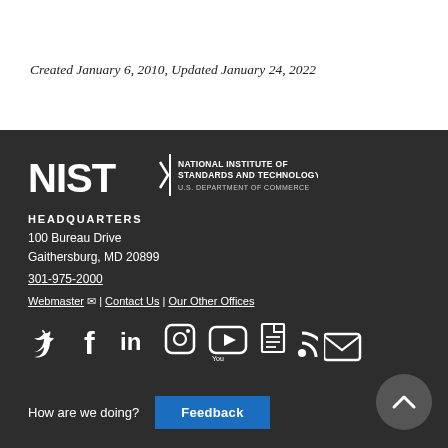Created January 6, 2010, Updated January 24, 2022
[Figure (logo): NIST - National Institute of Standards and Technology, U.S. Department of Commerce logo]
HEADQUARTERS
100 Bureau Drive
Gaithersburg, MD 20899
301-975-2000
Webmaster | Contact Us | Our Other Offices
[Figure (infographic): Social media icons: Twitter, Facebook, LinkedIn, Instagram, YouTube, GovDelivery, RSS, Email]
How are we doing?  Feedback